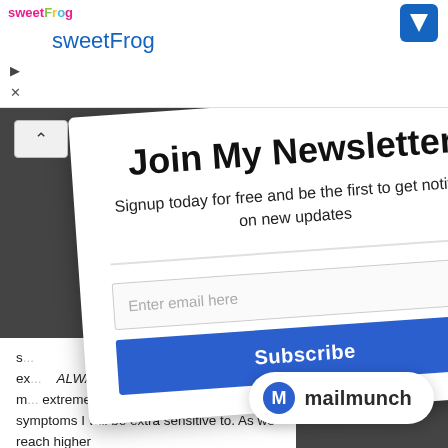[Figure (screenshot): SweetFrog advertisement banner at top with logo, title 'sweetFrog', blue arrow icon, and ad controls]
[Figure (screenshot): Newsletter signup modal card tilted at an angle showing 'Join My Newsletter' heading, subtitle, email input, and Subscribe button on dark background]
[Figure (logo): Mailmunch branding badge with blue M logo and 'mailmunch' text in bottom right]
Signup today for free and be the first to get notified on new updates
always been extreme, ALWAYS experienced more extreme, the symptoms double symptoms I will be extra sensitive to. As we reach higher